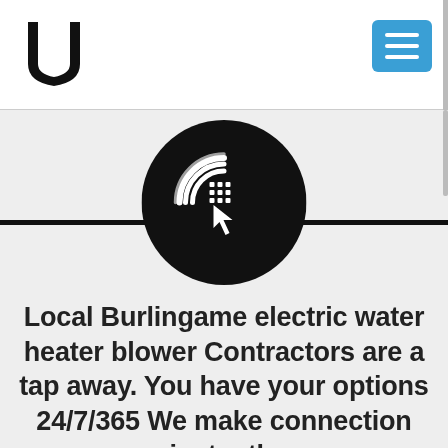[Figure (logo): U-shaped logo mark in black]
[Figure (logo): Blue square menu/hamburger button with three white horizontal lines]
[Figure (illustration): Black circle icon with a white cursor/click symbol and concentric arc lines, representing a tap or click action]
Local Burlingame electric water heater blower Contractors are a tap away. You have your options 24/7/365 We make connection instantly